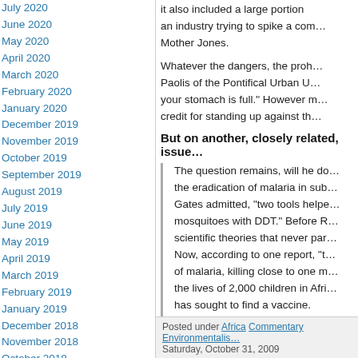July 2020
June 2020
May 2020
April 2020
March 2020
February 2020
January 2020
December 2019
November 2019
October 2019
September 2019
August 2019
July 2019
June 2019
May 2019
April 2019
March 2019
February 2019
January 2019
December 2018
November 2018
October 2018
September 2018
August 2018
July 2018
June 2018
May 2018
April 2018
March 2018
February 2018
January 2018
December 2017
it also included a large portion … an industry trying to spike a com… Mother Jones.
Whatever the dangers, the proh… Paolis of the Pontifical Urban U… your stomach is full.” However m… credit for standing up against th…
But on another, closely related, issue…
The question remains, will he do… the eradication of malaria in sub… Gates admitted, “two tools helpe… mosquitoes with DDT.” Before R… scientific theories that never par… Now, according to one report, “t… of malaria, killing close to one m… the lives of 2,000 children in Afri… has sought to find a vaccine.
If Gates truly wants to put the w… DDT is the best place to start.
Posted under Africa Commentary Environmentalis… Saturday, October 31, 2009